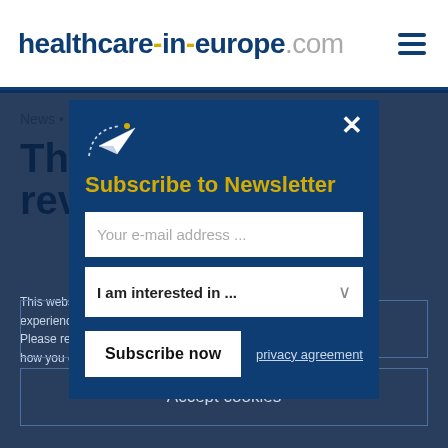healthcare-in-europe.com
News • Neuro-monitoring
Thin- revea
This website experience. Please refer t how you can e
[Figure (screenshot): Newsletter subscription modal popup with email input, interest dropdown, Subscribe now button, and privacy agreement link on dark blue background]
Refuse cookies
Accept cookies